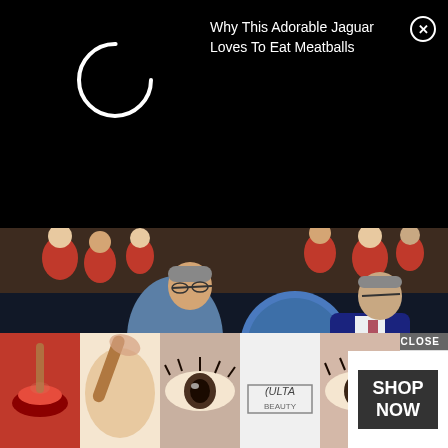[Figure (screenshot): Black ad overlay with loading spinner and title 'Why This Adorable Jaguar Loves To Eat Meatballs' with close button]
[Figure (photo): Two men playing ping pong, one leaning forward with paddle hitting a ball, another man in suit standing watching]
Source: knowyourmeme
10. [partially obscured text] ...UT
IT IS...
[Figure (screenshot): Bottom advertisement overlay showing Ulta Beauty products with CLOSE button and SHOP NOW call to action]